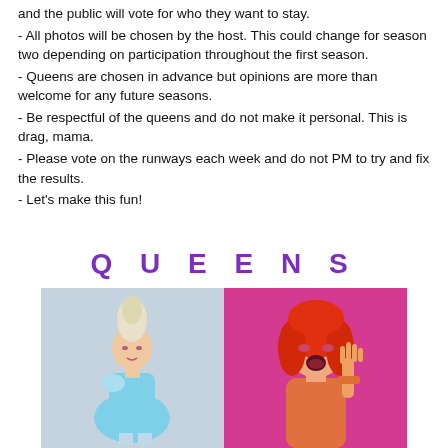and the public will vote for who they want to stay.
- All photos will be chosen by the host. This could change for season two depending on participation throughout the first season.
- Queens are chosen in advance but opinions are more than welcome for any future seasons.
- Be respectful of the queens and do not make it personal. This is drag, mama.
- Please vote on the runways each week and do not PM to try and fix the results.
- Let's make this fun!
QUEENS
[Figure (photo): Photo of a drag queen wearing a light blue outfit with blonde updo hair, posed against a light grey background.]
[Figure (photo): Photo of a drag queen with red/orange hair and dramatic makeup, hand raised, against a pink/magenta background.]